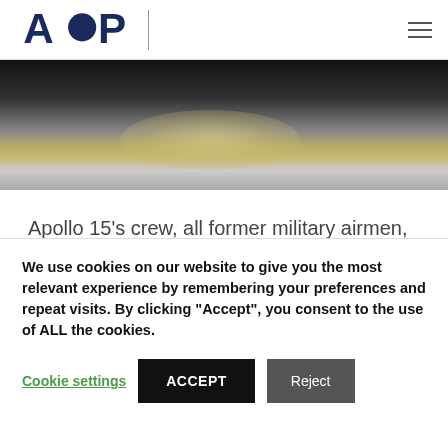AOP
[Figure (photo): Close-up photo of lunar rock samples or equipment on a light grey surface with dark background, from an Apollo mission]
Apollo 15's crew, all former military airmen, took their role as scientists very seriously to the delight of geologists (a previous Apollo crew had disgruntled the scientists on the
We use cookies on our website to give you the most relevant experience by remembering your preferences and repeat visits. By clicking “Accept”, you consent to the use of ALL the cookies.
Cookie settings  ACCEPT  Reject